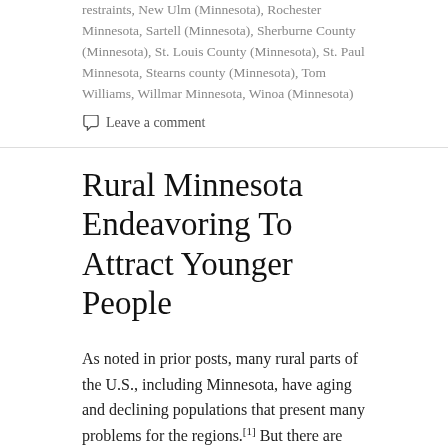restraints, New Ulm (Minnesota), Rochester Minnesota, Sartell (Minnesota), Sherburne County (Minnesota), St. Louis County (Minnesota), St. Paul Minnesota, Stearns county (Minnesota), Tom Williams, Willmar Minnesota, Winoa (Minnesota)
Leave a comment
Rural Minnesota Endeavoring To Attract Younger People
As noted in prior posts, many rural parts of the U.S., including Minnesota, have aging and declining populations that present many problems for the regions.[1] But there are hopeful signs that this trend may be reversing.
“The Blandin Foundation (Grand Rapids, MN) has found evidence of growing interest in small-town Minnesota: A study earlier this year showed more rural Minnesotans are staying put, with fewer considering moving to an urban area. Moreover, a broader theme through the T...